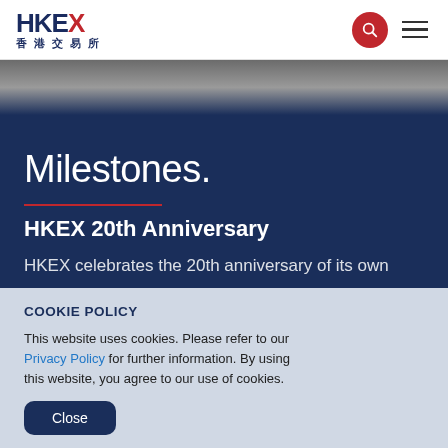HKEX 香港交易所
[Figure (photo): Dark background photo strip, appears to show a person in dark clothing, partial view]
Milestones.
HKEX 20th Anniversary
HKEX celebrates the 20th anniversary of its own...
COOKIE POLICY

This website uses cookies. Please refer to our Privacy Policy for further information. By using this website, you agree to our use of cookies.

Close